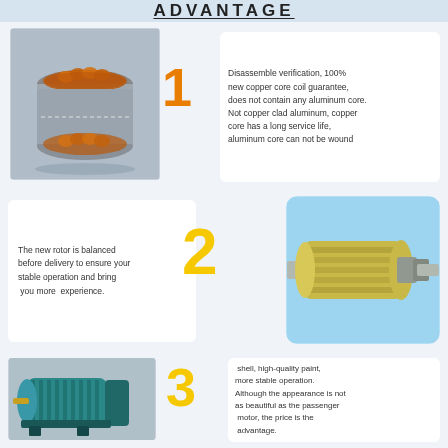ADVANTAGE
[Figure (photo): Motor stator with copper coil windings, cylindrical metallic component]
Disassemble verification, 100% new copper core coil guarantee, does not contain any aluminum core. Not copper clad aluminum, copper core has a long service life, aluminum core can not be wound
The new rotor is balanced before delivery to ensure your stable operation and bring you more experience.
[Figure (photo): Motor rotor / shaft assembly on light blue background]
[Figure (photo): Complete electric motor, teal/blue color with copper terminal]
shell, high-quality paint, more stable operation. Although the appearance is not as beautiful as the passenger motor, the price is the advantage.